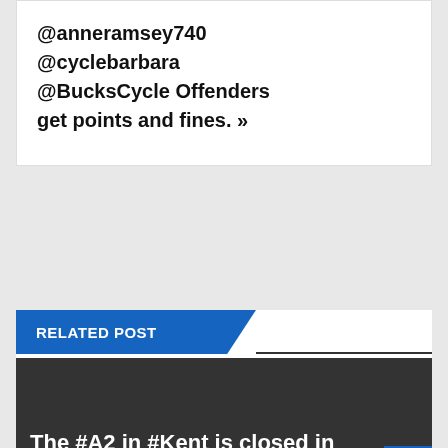@anneramsey740 @cyclebarbara @BucksCycle Offenders get points and fines. »
RELATED POST
[Figure (photo): Dark background image with white bold headline text reading: The #A2 in #Kent is closed in both directions between the]
The #A2 in #Kent is closed in both directions between the